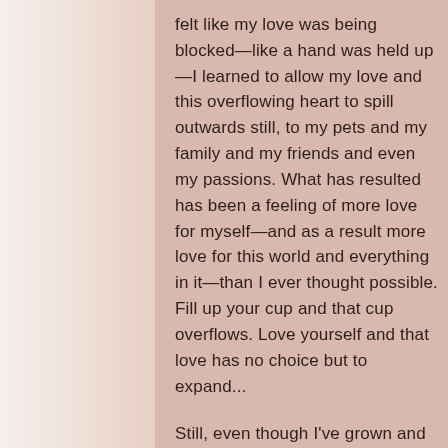felt like my love was being blocked—like a hand was held up—I learned to allow my love and this overflowing heart to spill outwards still, to my pets and my family and my friends and even my passions. What has resulted has been a feeling of more love for myself—and as a result more love for this world and everything in it—than I ever thought possible. Fill up your cup and that cup overflows. Love yourself and that love has no choice but to expand...
Still, even though I've grown and evolved so much through these lessons—lessons that, no matter how painful they've been, I have no regrets for how they've led me here, knowing this was part of the unfolding... I still had a subconscious fear